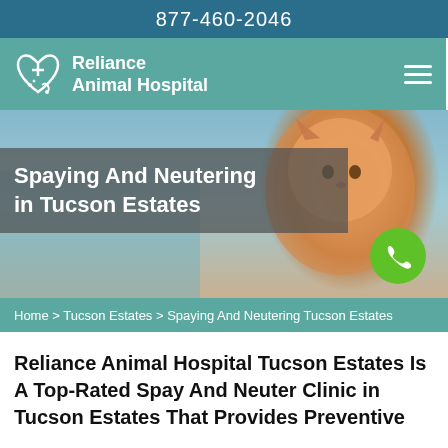877-460-2046
[Figure (logo): Reliance Animal Hospital logo with heart and paw icon on teal background with hamburger menu icon]
[Figure (photo): Veterinarian in blue scrubs holding an orange tabby cat, used as hero banner background]
Spaying And Neutering in Tucson Estates
Home > Tucson Estates > Spaying And Neutering Tucson Estates
Reliance Animal Hospital Tucson Estates Is A Top-Rated Spay And Neuter Clinic in Tucson Estates That Provides Preventive